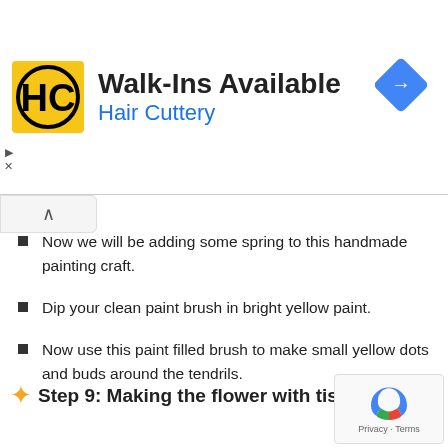[Figure (logo): Hair Cuttery advertisement banner with HC logo, 'Walk-Ins Available' heading, blue 'Hair Cuttery' subtitle, and blue diamond navigation icon]
Now we will be adding some spring to this handmade painting craft.
Dip your clean paint brush in bright yellow paint.
Now use this paint filled brush to make small yellow dots and buds around the tendrils.
✨ Step 9: Making the flower with tissue paper
[Figure (other): Google reCAPTCHA widget with Privacy and Terms links]